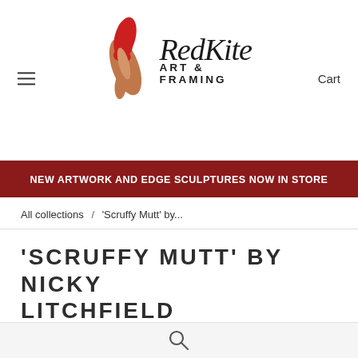[Figure (logo): Red Kite Art & Framing logo with stylized red kite bird illustration and script/sans-serif text]
NEW ARTWORK AND EDGE SCULPTURES NOW IN STORE
All collections / 'Scruffy Mutt' by...
'SCRUFFY MUTT' BY NICKY LITCHFIELD
£107.00
Tax included.